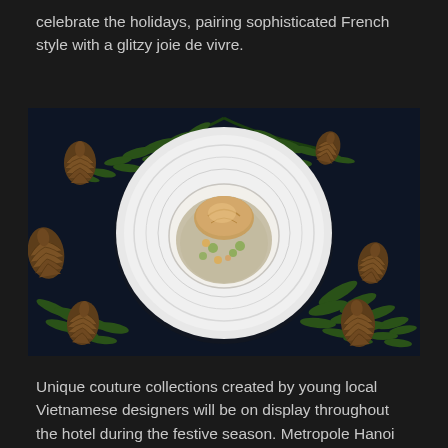celebrate the holidays, pairing sophisticated French style with a glitzy joie de vivre.
[Figure (photo): A white plate with a festive French dish — a small bowl of stew with vegetables topped with a golden bread crust, arranged on a dark navy blue surface surrounded by pine branches and golden pine cones.]
Unique couture collections created by young local Vietnamese designers will be on display throughout the hotel during the festive season. Metropole Hanoi invited Le Hoang Son and Hoang Minh Thu from the London College for Design and Fashion in Hanoi to create distinctive dresses inspired by